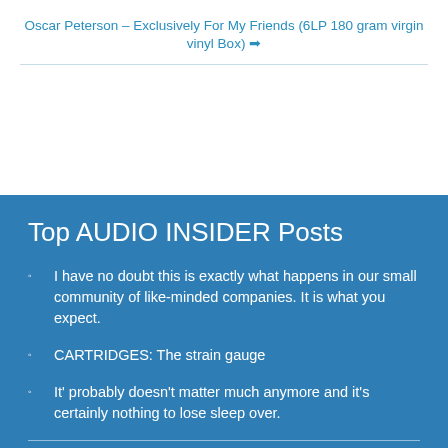Oscar Peterson – Exclusively For My Friends (6LP 180 gram virgin vinyl Box) →
Top AUDIO INSIDER Posts
I have no doubt this is exactly what happens in our small community of like-minded companies. It is what you expect.
CARTRIDGES: The strain gauge
It' probably doesn't matter much anymore and it's certainly nothing to lose sleep over.
Search Site
Search